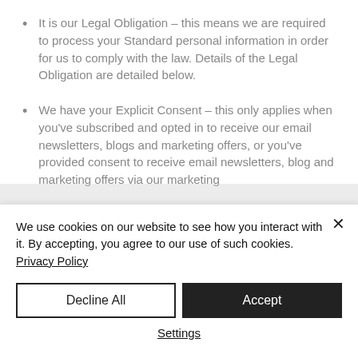It is our Legal Obligation – this means we are required to process your Standard personal information in order for us to comply with the law. Details of the Legal Obligation are detailed below.
We have your Explicit Consent – this only applies when you've subscribed and opted in to receive our email newsletters, blogs and marketing offers, or you've provided consent to receive email newsletters, blog and marketing offers via our marketing
We use cookies on our website to see how you interact with it. By accepting, you agree to our use of such cookies. Privacy Policy